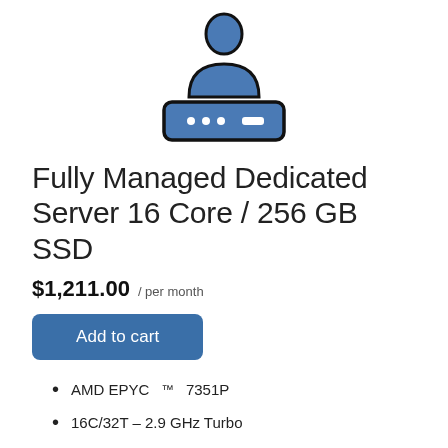[Figure (illustration): Icon of a person (user silhouette) above a server/computer device with three dots and a minus button, in blue and black outline style]
Fully Managed Dedicated Server 16 Core / 256 GB SSD
$1,211.00 / per month
Add to cart
AMD EPYC™ 7351P
16C/32T – 2.9 GHz Turbo
256 GB DDR4 RAM